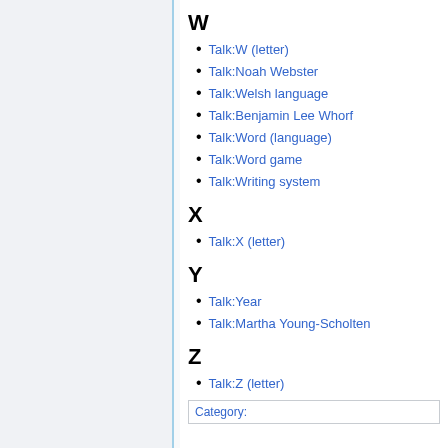W
Talk:W (letter)
Talk:Noah Webster
Talk:Welsh language
Talk:Benjamin Lee Whorf
Talk:Word (language)
Talk:Word game
Talk:Writing system
X
Talk:X (letter)
Y
Talk:Year
Talk:Martha Young-Scholten
Z
Talk:Z (letter)
Category: